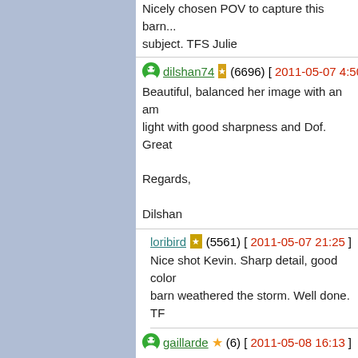Nicely chosen POV to capture this barn... subject. TFS Julie
dilshan74 (6696) [2011-05-07 4:50] Beautiful, balanced her image with an am light with good sharpness and Dof. Great Regards, Dilshan
loribird (5561) [2011-05-07 21:25] Nice shot Kevin. Sharp detail, good color barn weathered the storm. Well done. TF
gaillarde (6) [2011-05-08 16:13] Hello Kevin, This image is particularly superbe.Même the arend even more beautiful. Nice work adjustment made for this lovely Well done and TFS. Enjoyable week. Greetings. Merci. Yolande
jimilagro (120) [2011-05-12 18:08] Nice contrast with the grey of the barn ag